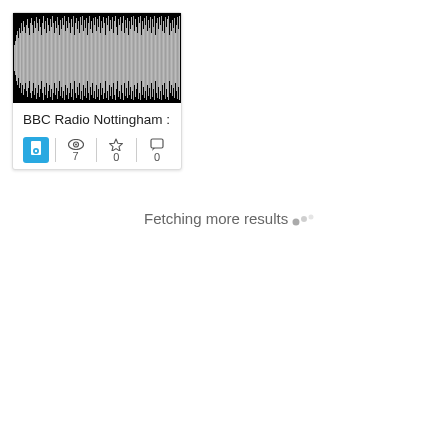[Figure (other): Audio waveform visualization showing sound wave patterns on a black background]
BBC Radio Nottingham :
[Figure (infographic): Card stats row: blue icon button, views count 7, stars count 0, comments count 0]
Fetching more results